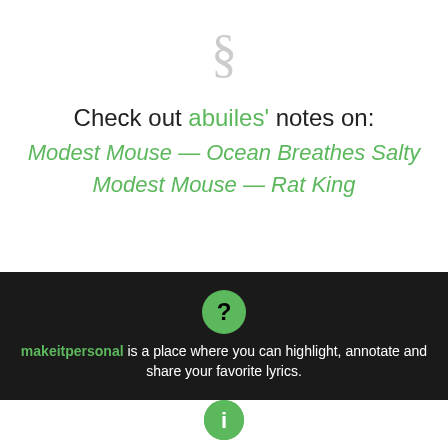[Figure (logo): Section symbol (§) logo in light gray]
Check out abuiles' notes on:
Modest Mouse — Ocean Breathes Salty
Modest Mouse — Rat King
makeitpersonal is a place where you can highlight, annotate and share your favorite lyrics.
Contact us   manifesto   blog   "legal disclaimer"   Follow us on Twitter